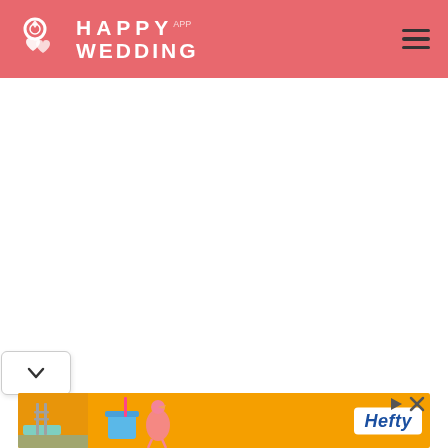Happy Wedding App — navigation header with logo and hamburger menu
[Figure (screenshot): White blank content area below the header, likely a web page body]
[Figure (other): Dropdown chevron button at bottom left]
[Figure (other): Hefty brand advertisement banner with orange background showing pool, flamingo cup, and Hefty logo with close/play controls]